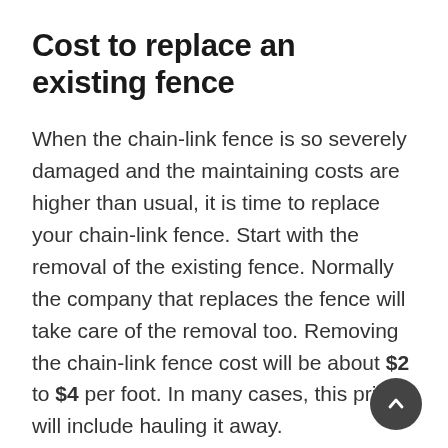Cost to replace an existing fence
When the chain-link fence is so severely damaged and the maintaining costs are higher than usual, it is time to replace your chain-link fence. Start with the removal of the existing fence. Normally the company that replaces the fence will take care of the removal too. Removing the chain-link fence cost will be about $2 to $4 per foot. In many cases, this price will include hauling it away.
Check with the local scrap yard if they want to